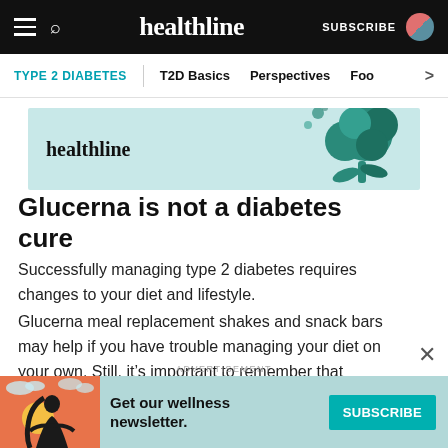healthline | SUBSCRIBE
TYPE 2 DIABETES | T2D Basics | Perspectives | Foo >
[Figure (illustration): Healthline advertisement banner with broccoli illustration on teal background]
Glucerna is not a diabetes cure
Successfully managing type 2 diabetes requires changes to your diet and lifestyle.
Glucerna meal replacement shakes and snack bars may help if you have trouble managing your diet on your own. Still, it's important to remember that
[Figure (illustration): Advertisement banner: Get our wellness newsletter. SUBSCRIBE button. Shows a woman illustration on orange/red background.]